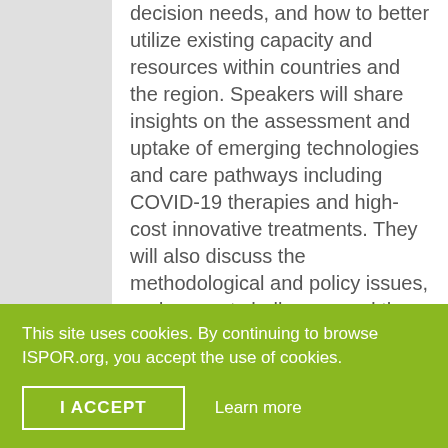decision needs, and how to better utilize existing capacity and resources within countries and the region. Speakers will share insights on the assessment and uptake of emerging technologies and care pathways including COVID-19 therapies and high-cost innovative treatments. They will also discuss the methodological and policy issues, and present challenges and the way forward.
Mo...
This site uses cookies. By continuing to browse ISPOR.org, you accept the use of cookies.
I ACCEPT
Learn more